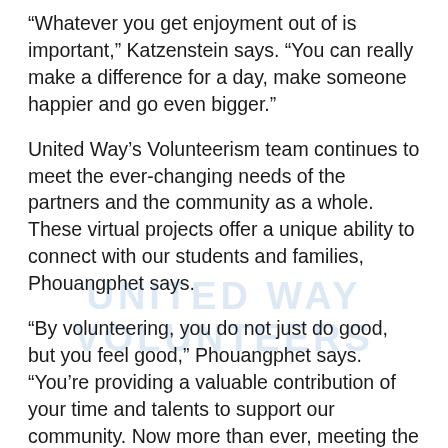“Whatever you get enjoyment out of is important,” Katzenstein says. “You can really make a difference for a day, make someone happier and go even bigger.”
United Way’s Volunteerism team continues to meet the ever-changing needs of the partners and the community as a whole. These virtual projects offer a unique ability to connect with our students and families, Phouangphet says.
“By volunteering, you do not just do good, but you feel good,” Phouangphet says. “You’re providing a valuable contribution of your time and talents to support our community. Now more than ever, meeting the needs of our community members is so important—and easy to do through United Way of Greater Atlanta.”
In order to give back through your time and talents, we must Unite More Can children, families and Greater Atlanta communities. Could you?